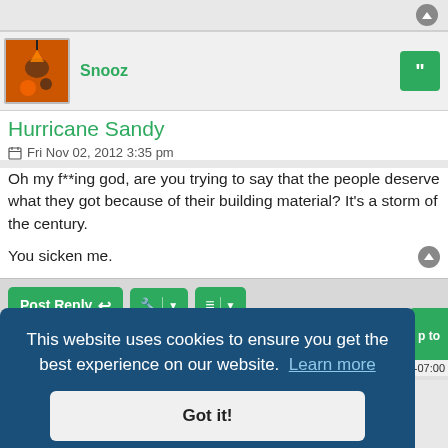Snooz
Hurricane Sandy
Fri Nov 02, 2012 3:35 pm
Oh my f**ing god, are you trying to say that the people deserve what they got because of their building material? It's a storm of the century.

You sicken me.
Post Reply  [tools] [sort]  145 posts  1  2  3  >
This website uses cookies to ensure you get the best experience on our website.  Learn more
Got it!